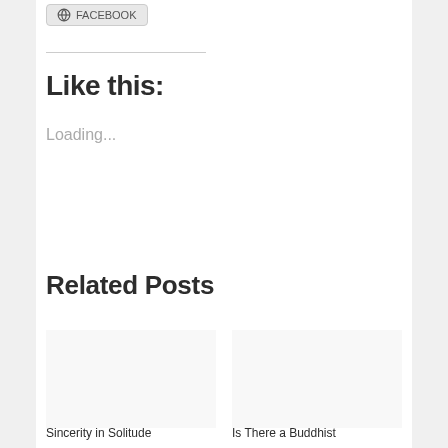[Figure (other): Facebook share/like button with globe icon]
Like this:
Loading...
Related Posts
Sincerity in Solitude
Is There a Buddhist
414